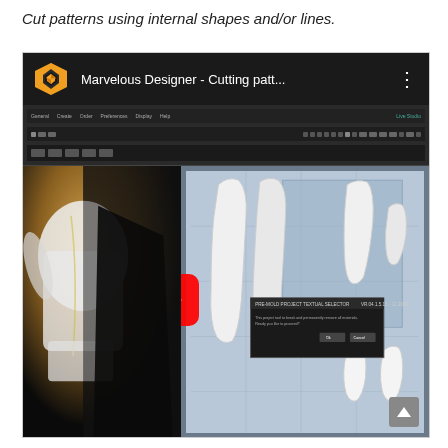Cut patterns using internal shapes and/or lines.
[Figure (screenshot): YouTube video thumbnail/embed for 'Marvelous Designer - Cutting patt...' showing a 3D clothing software interface with a mannequin wearing a white garment on the left panel and pattern pieces on the right panel, with a red YouTube play button in the center.]